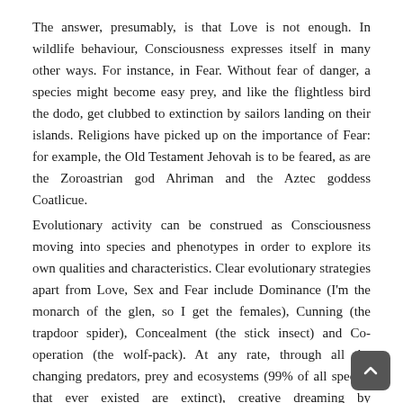The answer, presumably, is that Love is not enough. In wildlife behaviour, Consciousness expresses itself in many other ways. For instance, in Fear. Without fear of danger, a species might become easy prey, and like the flightless bird the dodo, get clubbed to extinction by sailors landing on their islands. Religions have picked up on the importance of Fear: for example, the Old Testament Jehovah is to be feared, as are the Zoroastrian god Ahriman and the Aztec goddess Coatlicue.
Evolutionary activity can be construed as Consciousness moving into species and phenotypes in order to explore its own qualities and characteristics. Clear evolutionary strategies apart from Love, Sex and Fear include Dominance (I'm the monarch of the glen, so I get the females), Cunning (the trapdoor spider), Concealment (the stick insect) and Co-operation (the wolf-pack). At any rate, through all the changing predators, prey and ecosystems (99% of all species that ever existed are extinct), creative dreaming by Consciousness through Nature remains constant.